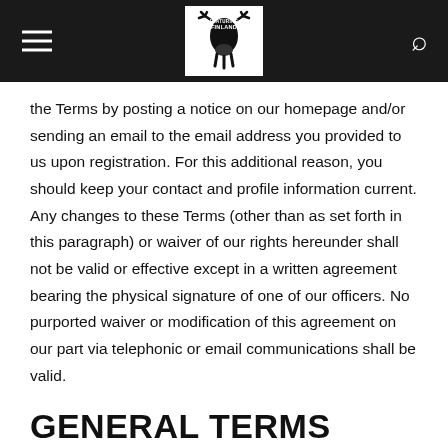[Navigation header with hamburger menu, Featuring Finland logo, and search icon]
the Terms by posting a notice on our homepage and/or sending an email to the email address you provided to us upon registration. For this additional reason, you should keep your contact and profile information current. Any changes to these Terms (other than as set forth in this paragraph) or waiver of our rights hereunder shall not be valid or effective except in a written agreement bearing the physical signature of one of our officers. No purported waiver or modification of this agreement on our part via telephonic or email communications shall be valid.
GENERAL TERMS
If any part of this Terms of Use agreement is held or found to be invalid or unenforceable, that portion of the agreement